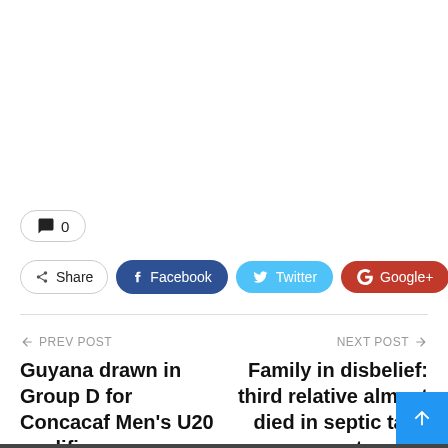[Figure (other): Empty white space area at top of page (above fold / advertisement area)]
💬 0
Share  Facebook  Twitter  Google+  +
← PREV POST
Guyana drawn in Group D for Concacaf Men's U20 qualifiers
NEXT POST →
Family in disbelief: third relative almost died in septic tank tragedy